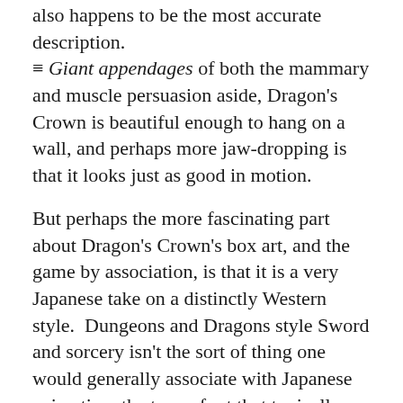also happens to be the most accurate description. Giant appendages of both the mammary and muscle persuasion aside, Dragon's Crown is beautiful enough to hang on a wall, and perhaps more jaw-dropping is that it looks just as good in motion.
But perhaps the more fascinating part about Dragon's Crown's box art, and the game by association, is that it is a very Japanese take on a distinctly Western style. Dungeons and Dragons style Sword and sorcery isn't the sort of thing one would generally associate with Japanese animation, the type of art that typically depicts hyper-masculine male figures alongside dwarves and (usually) beautiful elvish female characters rooted in mysticism or witchcraft. It's no secret that modern Japanese-produced anime was profoundly influenced by Western animation – particularly the work of Walt Disney – in the early days. But to see a Japanese artist tackle a traditionally Western style, and with such impressive results, is